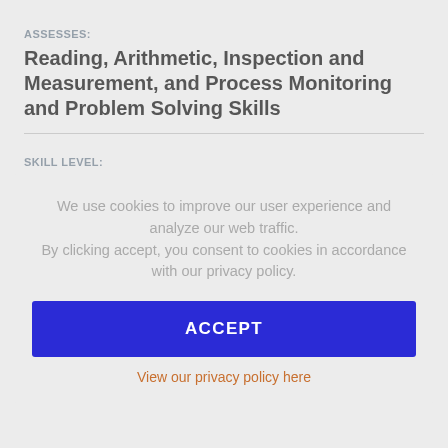ASSESSES:
Reading, Arithmetic, Inspection and Measurement, and Process Monitoring and Problem Solving Skills
SKILL LEVEL:
Apprentice/Entry
We use cookies to improve our user experience and analyze our web traffic.
By clicking accept, you consent to cookies in accordance with our privacy policy.
ACCEPT
View our privacy policy here